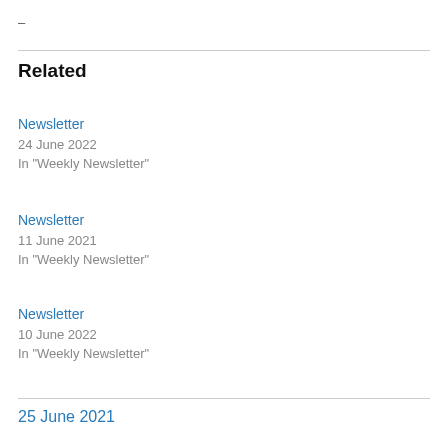–
Related
Newsletter
24 June 2022
In "Weekly Newsletter"
Newsletter
11 June 2021
In "Weekly Newsletter"
Newsletter
10 June 2022
In "Weekly Newsletter"
25 June 2021